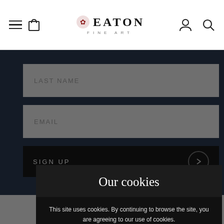Eaton Fine Art — site header with navigation icons and logo
LAST NAME
EMAIL
SIGN UP
[Figure (screenshot): Cookie consent dialog overlay with title 'Our cookies', body text 'This site uses cookies. By continuing to browse the site, you are agreeing to our use of cookies.', and two buttons: 'Allow all' and 'Manage cookies']
Our cookies
This site uses cookies. By continuing to browse the site, you are agreeing to our use of cookies.
Allow all
Manage cookies
Social media icons: Twitter, Facebook, Instagram